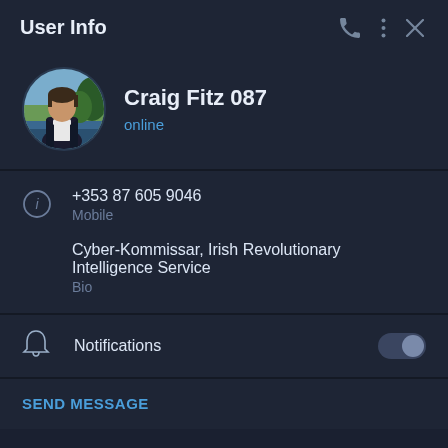User Info
[Figure (photo): Profile photo of Craig Fitz 087, a man in a white shirt and dark jacket outdoors]
Craig Fitz 087
online
+353 87 605 9046
Mobile
Cyber-Kommissar, Irish Revolutionary Intelligence Service
Bio
Notifications
SEND MESSAGE